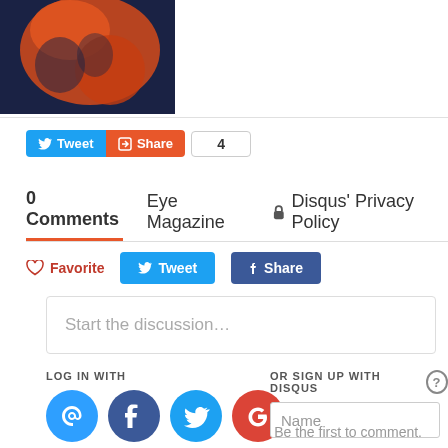[Figure (illustration): Dark navy background with orange illustrated figure, partial view cropped at top]
Tweet | Share | 4
0 Comments   Eye Magazine   Disqus' Privacy Policy
Favorite   Tweet   Share
Start the discussion…
LOG IN WITH
[Figure (logo): Social login icons: Disqus (blue), Facebook (dark blue), Twitter (light blue), Google (red)]
OR SIGN UP WITH DISQUS ?
Name
Be the first to comment.